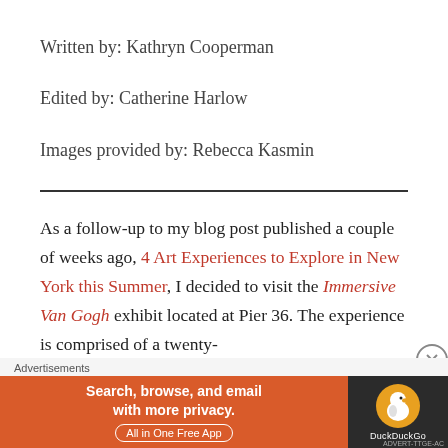Written by: Kathryn Cooperman
Edited by: Catherine Harlow
Images provided by: Rebecca Kasmin
As a follow-up to my blog post published a couple of weeks ago, 4 Art Experiences to Explore in New York this Summer, I decided to visit the Immersive Van Gogh exhibit located at Pier 36. The experience is comprised of a twenty-
Advertisements
[Figure (other): DuckDuckGo advertisement banner: orange section with text 'Search, browse, and email with more privacy. All in One Free App' and dark section with DuckDuckGo duck logo]